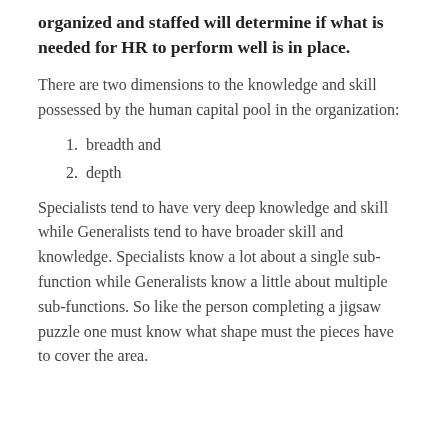organized and staffed will determine if what is needed for HR to perform well is in place.
There are two dimensions to the knowledge and skill possessed by the human capital pool in the organization:
breadth and
depth
Specialists tend to have very deep knowledge and skill while Generalists tend to have broader skill and knowledge. Specialists know a lot about a single sub-function while Generalists know a little about multiple sub-functions. So like the person completing a jigsaw puzzle one must know what shape must the pieces have to cover the area.